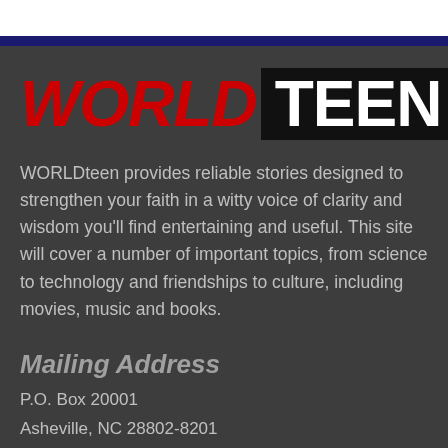[Figure (logo): WORLD TEEN logo with WORLD in red italic bold text and TEEN in white bold text on black background]
WORLDteen provides reliable stories designed to strengthen your faith in a witty voice of clarity and wisdom you'll find entertaining and useful. This site will cover a number of important topics, from science to technology and friendships to culture, including movies, music and books.
Mailing Address
P.O. Box 20001
Asheville, NC 28802-8201
828-435-2982